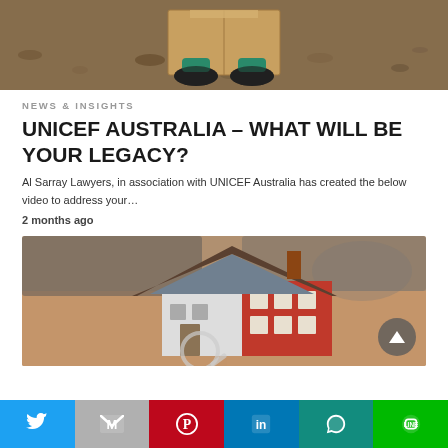[Figure (photo): Cropped photo showing child's feet in sneakers and socks standing next to a cardboard box on dirt ground]
NEWS & INSIGHTS
UNICEF AUSTRALIA – WHAT WILL BE YOUR LEGACY?
Al Sarray Lawyers, in association with UNICEF Australia has created the below video to address your…
2 months ago
[Figure (photo): Photo of a miniature house model with red walls and gray roof on a wooden table, with blurred background]
Social share bar: Twitter, Gmail, Pinterest, LinkedIn, WhatsApp, Line